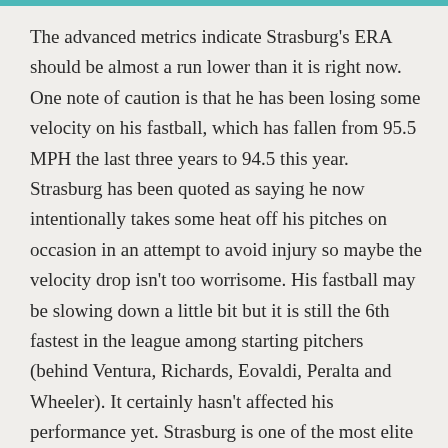The advanced metrics indicate Strasburg's ERA should be almost a run lower than it is right now. One note of caution is that he has been losing some velocity on his fastball, which has fallen from 95.5 MPH the last three years to 94.5 this year. Strasburg has been quoted as saying he now intentionally takes some heat off his pitches on occasion in an attempt to avoid injury so maybe the velocity drop isn't too worrisome. His fastball may be slowing down a little bit but it is still the 6th fastest in the league among starting pitchers (behind Ventura, Richards, Eovaldi, Peralta and Wheeler). It certainly hasn't affected his performance yet. Strasburg is one of the most elite pitchers in baseball but he has been overshadowed this year by the exploits of Clayton Kershaw, King Felix Hernandez, Johnny Cueto, Chris Sale, Masahiro Tanaka and others. Despite his run-of-the-mill ERA